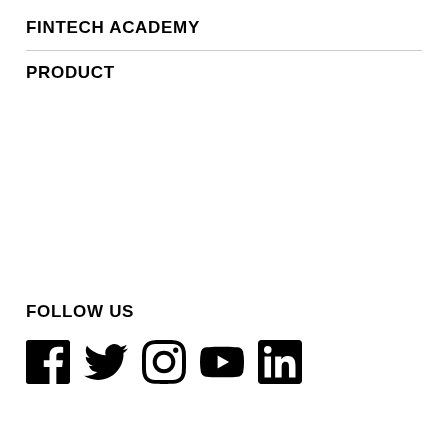FINTECH ACADEMY
PRODUCT
FOLLOW US
[Figure (illustration): Social media icons: Facebook, Twitter, Instagram, YouTube, LinkedIn]